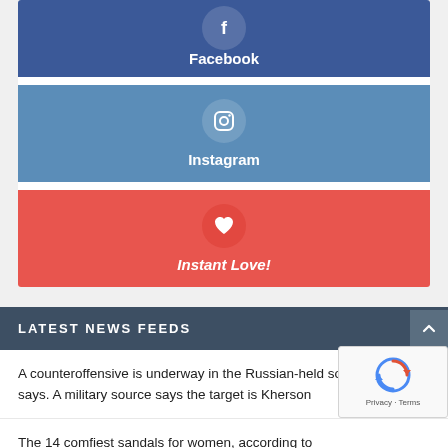[Figure (screenshot): Facebook social share button with white 'f' icon in a circle on dark blue background with bold white text 'Facebook']
[Figure (screenshot): Instagram social share button with camera icon in a circle on steel blue background with bold white text 'Instagram']
[Figure (screenshot): Instant Love button with heart icon in a circle on red background with bold italic white text 'Instant Love!']
LATEST NEWS FEEDS
A counteroffensive is underway in the Russian-held south, Ukraine says. A military source says the target is Kherson
The 14 comfiest sandals for women, according to